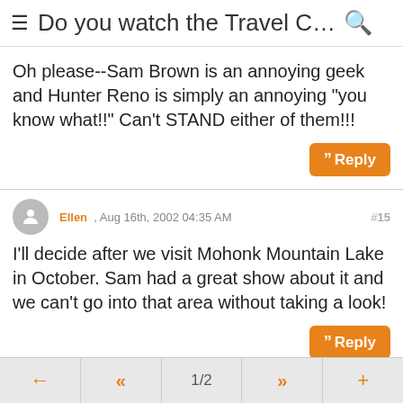Do you watch the Travel Chann...
Oh please--Sam Brown is an annoying geek and Hunter Reno is simply an annoying "you know what!!" Can't STAND either of them!!!
Reply
Ellen , Aug 16th, 2002 04:35 AM  #15
I'll decide after we visit Mohonk Mountain Lake in October. Sam had a great show about it and we can't go into that area without taking a look!
Reply
Sam , Aug 16th, 2002 04:52 AM  #16
← « 1/2 » +